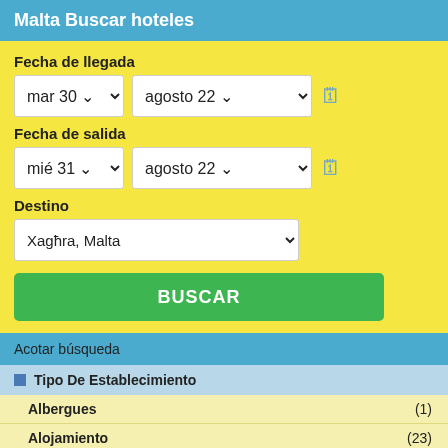Malta Buscar hoteles
Fecha de llegada
mar 30 | agosto 22
Fecha de salida
mié 31 | agosto 22
Destino
Xagħra, Malta
BUSCAR
Acotar búsqueda
Tipo De Establecimiento
Albergues (1)
Alojamiento (23)
Apartamentos (3)
Establecimiento de tipo alojamiento y desayuno (5)
Hoteles de 4* estrallas (1)
Instalaciones